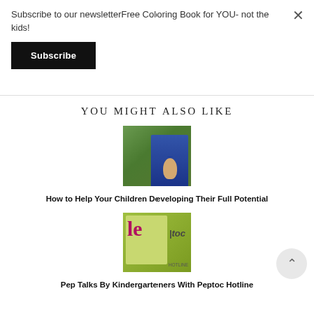Subscribe to our newsletterFree Coloring Book for YOU- not the kids!
Subscribe
YOU MIGHT ALSO LIKE
[Figure (photo): A toddler playing outdoors with bubbles on a garden path]
How to Help Your Children Developing Their Full Potential
[Figure (photo): Peptoc Hotline cards showing colorful letter tiles on a green background]
Pep Talks By Kindergarteners With Peptoc Hotline